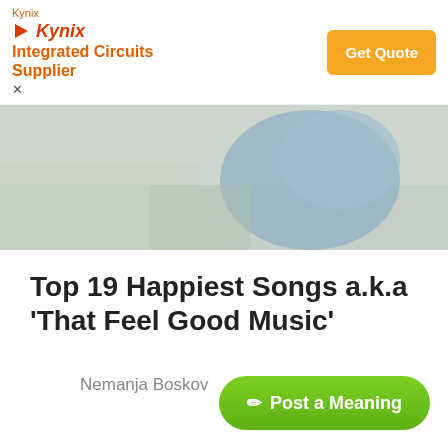[Figure (screenshot): Kynix Integrated Circuits Supplier advertisement banner with orange Get Quote button]
[Figure (photo): Partial photo showing light blue background with what appears to be a vintage audio device or headphones]
Top 19 Happiest Songs a.k.a 'That Feel Good Music'
Nemanja Boskov
6 years ago
Post a Meaning